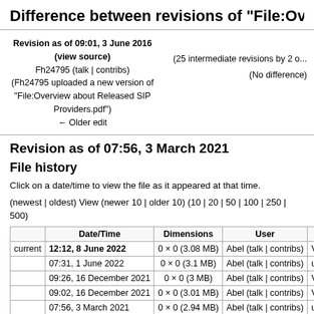Difference between revisions of "File:Overview about R..."
Revision as of 09:01, 3 June 2016 (view source)
Fh24795 (talk | contribs)
(Fh24795 uploaded a new version of "File:Overview about Released SIP Providers.pdf")
← Older edit

(25 intermediate revisions by 2 o...
(No difference)
Revision as of 07:56, 3 March 2021
File history
Click on a date/time to view the file as it appeared at that time.
(newest | oldest) View (newer 10 | older 10) (10 | 20 | 50 | 100 | 250 | 500)
|  | Date/Time | Dimensions | User |  |
| --- | --- | --- | --- | --- |
| current | 12:12, 8 June 2022 | 0 × 0 (3.08 MB) | Abel (talk | contribs) | V3R2 enviate... |
|  | 07:31, 1 June 2022 | 0 × 0 (3.1 MB) | Abel (talk | contribs) | update for V3... |
|  | 09:26, 16 December 2021 | 0 × 0 (3 MB) | Abel (talk | contribs) | V3R1 FR2 - f... |
|  | 09:02, 16 December 2021 | 0 × 0 (3.01 MB) | Abel (talk | contribs) | V3R1 FR2 up... |
|  | 07:56, 3 March 2021 | 0 × 0 (2.94 MB) | Abel (talk | contribs) | update for V3... |
|  | 11:38, 29 October 2020 | 0 × 0 (2.36 MB) | Abel (talk | contribs) | update for V3... |